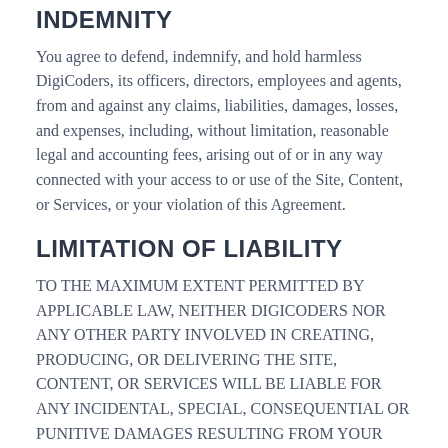INDEMNITY
You agree to defend, indemnify, and hold harmless DigiCoders, its officers, directors, employees and agents, from and against any claims, liabilities, damages, losses, and expenses, including, without limitation, reasonable legal and accounting fees, arising out of or in any way connected with your access to or use of the Site, Content, or Services, or your violation of this Agreement.
LIMITATION OF LIABILITY
TO THE MAXIMUM EXTENT PERMITTED BY APPLICABLE LAW, NEITHER DIGICODERS NOR ANY OTHER PARTY INVOLVED IN CREATING, PRODUCING, OR DELIVERING THE SITE, CONTENT, OR SERVICES WILL BE LIABLE FOR ANY INCIDENTAL, SPECIAL, CONSEQUENTIAL OR PUNITIVE DAMAGES RESULTING FROM YOUR ACCESS TO OR USE OF, OR INABILITY TO ACCESS OR USE, THE SITE, CONTENT, OR SERVICES, WHETHER BASED ON WARRANTY, CONTRACT, TORT (INCLUDING